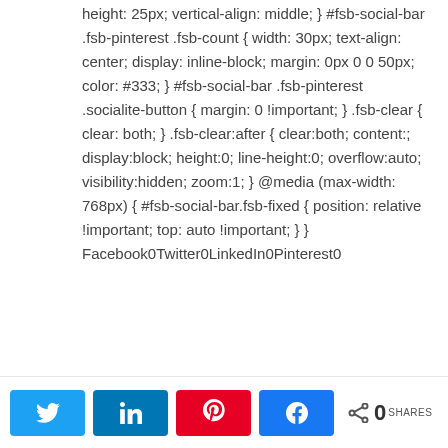height: 25px; vertical-align: middle; } #fsb-social-bar .fsb-pinterest .fsb-count { width: 30px; text-align: center; display: inline-block; margin: 0px 0 0 50px; color: #333; } #fsb-social-bar .fsb-pinterest .socialite-button { margin: 0 !important; } .fsb-clear { clear: both; } .fsb-clear:after { clear:both; content:; display:block; height:0; line-height:0; overflow:auto; visibility:hidden; zoom:1; } @media (max-width: 768px) { #fsb-social-bar.fsb-fixed { position: relative !important; top: auto !important; } } Facebook0Twitter0LinkedIn0Pinterest0
Most people begin at the bottom where they take public transport to work every day and work long hours in order to make things work in life however, as your life and your
[Figure (infographic): Social share bar with Twitter, LinkedIn, Pinterest, Facebook buttons and a share count showing 0 SHARES]